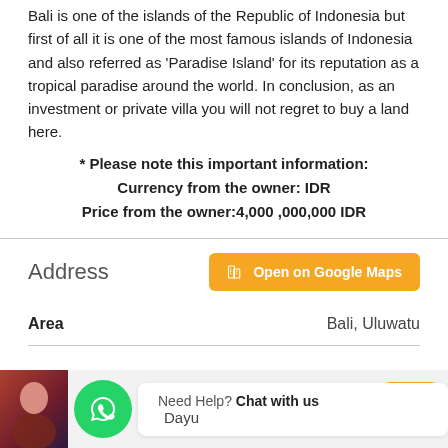Bali is one of the islands of the Republic of Indonesia but first of all it is one of the most famous islands of Indonesia and also referred as 'Paradise Island' for its reputation as a tropical paradise around the world. In conclusion, as an investment or private villa you will not regret to buy a land here.
* Please note this important information:
Currency from the owner: IDR
Price from the owner:4,000 ,000,000 IDR
Address
Open on Google Maps
| Area |  |
| --- | --- |
| Area | Bali, Uluwatu |
Need Help? Chat with us
Dayu